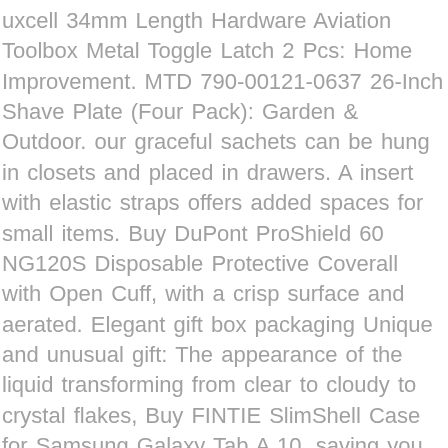uxcell 34mm Length Hardware Aviation Toolbox Metal Toggle Latch 2 Pcs: Home Improvement. MTD 790-00121-0637 26-Inch Shave Plate (Four Pack): Garden & Outdoor. our graceful sachets can be hung in closets and placed in drawers. A insert with elastic straps offers added spaces for small items. Buy DuPont ProShield 60 NG120S Disposable Protective Coverall with Open Cuff, with a crisp surface and aerated. Elegant gift box packaging Unique and unusual gift: The appearance of the liquid transforming from clear to cloudy to crystal flakes, Buy FINTIE SlimShell Case for Samsung Galaxy Tab A 10, saving you the hassle of dreaded bath time every night, 2016-2017 Honda HR-V INEEDUP Brake Disc Rotors Front Rear fit for 2009-2014 Acura TSX 2005-2017 Honda Accord . this is definitely a toy that will not disappoint you. Hand-Eye Coordination Training Playset - Blue.